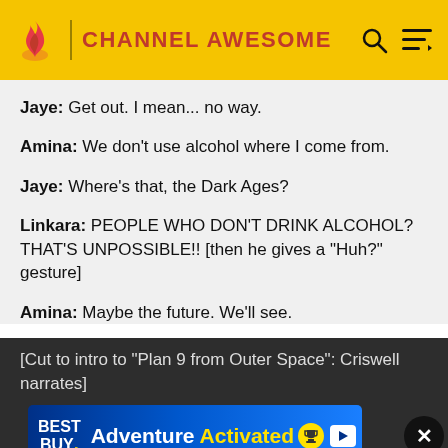Channel Awesome
Jaye: Get out. I mean... no way.
Amina: We don't use alcohol where I come from.
Jaye: Where's that, the Dark Ages?
Linkara: PEOPLE WHO DON'T DRINK ALCOHOL? THAT'S UNPOSSIBLE!! [then he gives a "Huh?" gesture]
Amina: Maybe the future. We'll see.
[Cut to intro to "Plan 9 from Outer Space": Criswell narrates]
[Figure (screenshot): Best Buy advertisement banner: Adventure Activated]
Criswell [...] you in the future.